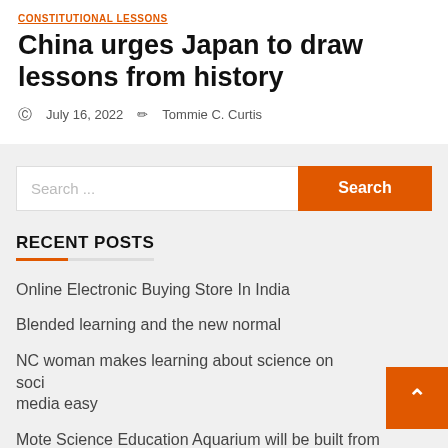CONSTITUTIONAL LESSONS
China urges Japan to draw lessons from history
July 16, 2022   Tommie C. Curtis
RECENT POSTS
Online Electronic Buying Store In India
Blended learning and the new normal
NC woman makes learning about science on social media easy
Mote Science Education Aquarium will be built from